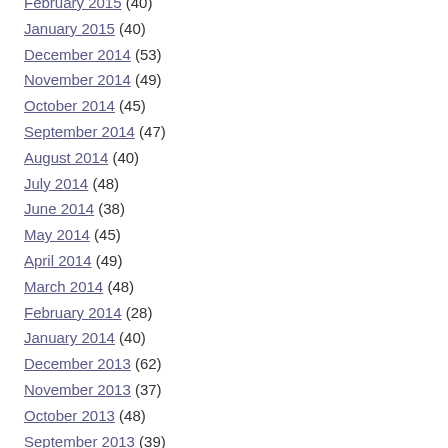February 2015 (40)
January 2015 (40)
December 2014 (53)
November 2014 (49)
October 2014 (45)
September 2014 (47)
August 2014 (40)
July 2014 (48)
June 2014 (38)
May 2014 (45)
April 2014 (49)
March 2014 (48)
February 2014 (28)
January 2014 (40)
December 2013 (62)
November 2013 (37)
October 2013 (48)
September 2013 (39)
August 2013 (40)